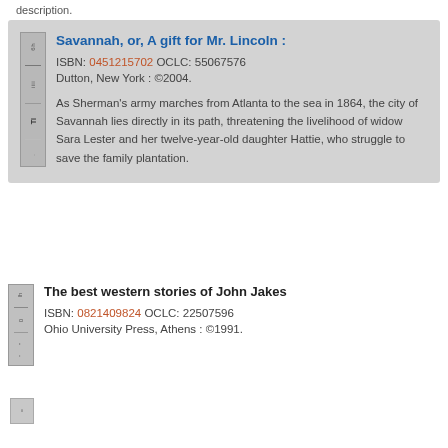description.
Savannah, or, A gift for Mr. Lincoln : ISBN: 0451215702 OCLC: 55067576 Dutton, New York : ©2004. As Sherman's army marches from Atlanta to the sea in 1864, the city of Savannah lies directly in its path, threatening the livelihood of widow Sara Lester and her twelve-year-old daughter Hattie, who struggle to save the family plantation.
The best western stories of John Jakes ISBN: 0821409824 OCLC: 22507596 Ohio University Press, Athens : ©1991.